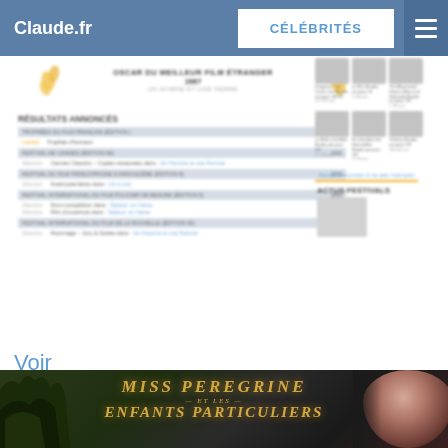Claude.fr | CÉLÉBRITÉS
[Figure (screenshot): Blurred screenshot of a French cinema website showing Oscar du Meilleur Film Étranger 1967 award badge for Un Homme et Une Femme, with results section listing festival entries including Trophées du Film Français, Festival de Cannes, Festival du Film Francophone d'Angoulême, Festival International du Film Policier de Beaune, and Festival International du Film de La Rochelle]
[Figure (screenshot): Blurred right sidebar showing movie thumbnails including Kingsman Le Cercle d'or, Le Brio, The Meyerowitz Stories, La Belle et la Bête, En Attendant les Hirondelles, Thérèse, with links for Bande-annonces and Actus Festivals sections]
Voir
[Figure (photo): Bottom banner advertisement for Miss Peregrine et les Enfants Particuliers movie, showing stylized golden title text on dark background with woman's face on right side]